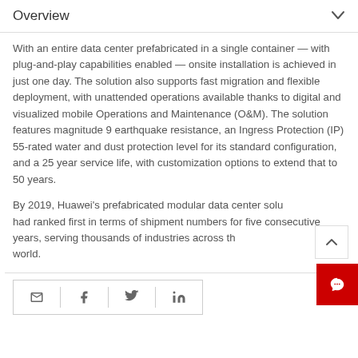Overview
With an entire data center prefabricated in a single container — with plug-and-play capabilities enabled — onsite installation is achieved in just one day. The solution also supports fast migration and flexible deployment, with unattended operations available thanks to digital and visualized mobile Operations and Maintenance (O&M). The solution features magnitude 9 earthquake resistance, an Ingress Protection (IP) 55-rated water and dust protection level for its standard configuration, and a 25 year service life, with customization options to extend that to 50 years.
By 2019, Huawei's prefabricated modular data center solution had ranked first in terms of shipment numbers for five consecutive years, serving thousands of industries across the world.